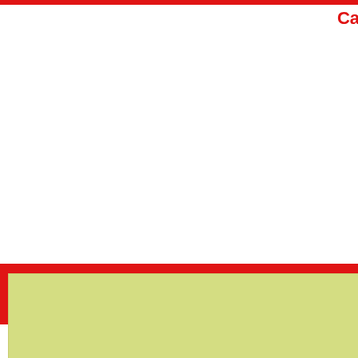Ca
About OBL   Corporate Banking   Retail Banking   Career   Locations
Pyramid Savings
[Figure (other): Light yellow-green content area box below the Pyramid Savings title]